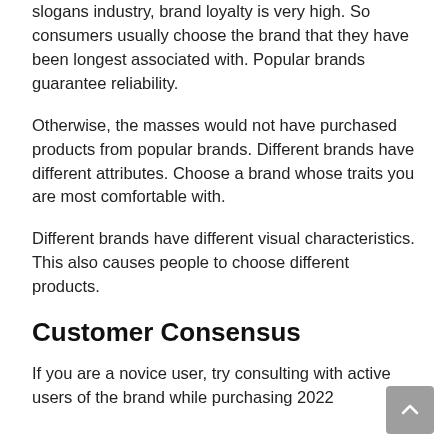slogans industry, brand loyalty is very high. So consumers usually choose the brand that they have been longest associated with. Popular brands guarantee reliability.
Otherwise, the masses would not have purchased products from popular brands. Different brands have different attributes. Choose a brand whose traits you are most comfortable with.
Different brands have different visual characteristics. This also causes people to choose different products.
Customer Consensus
If you are a novice user, try consulting with active users of the brand while purchasing 2022...